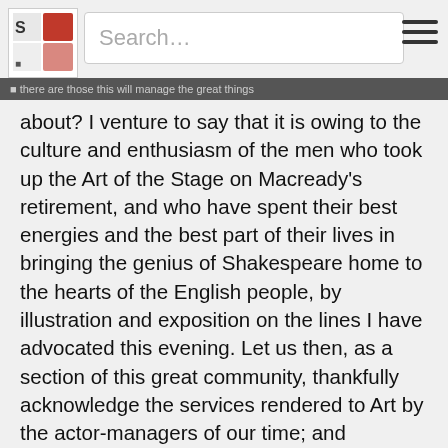Search…
about? I venture to say that it is owing to the culture and enthusiasm of the men who took up the Art of the Stage on Macready's retirement, and who have spent their best energies and the best part of their lives in bringing the genius of Shakespeare home to the hearts of the English people, by illustration and exposition on the lines I have advocated this evening. Let us then, as a section of this great community, thankfully acknowledge the services rendered to Art by the actor-managers of our time; and especially when they are assembled to celebrate the advent of that great genius whose work they have loved and honoured.